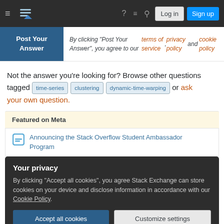Stack Exchange navigation bar with Log in and Sign up buttons
By clicking "Post Your Answer", you agree to our terms of service, privacy policy and cookie policy
Not the answer you're looking for? Browse other questions tagged time-series clustering dynamic-time-warping or ask your own question.
Featured on Meta
Announcing the Stack Overflow Student Ambassador Program
Your privacy
By clicking "Accept all cookies", you agree Stack Exchange can store cookies on your device and disclose information in accordance with our Cookie Policy.
Comparing 2 time series in R